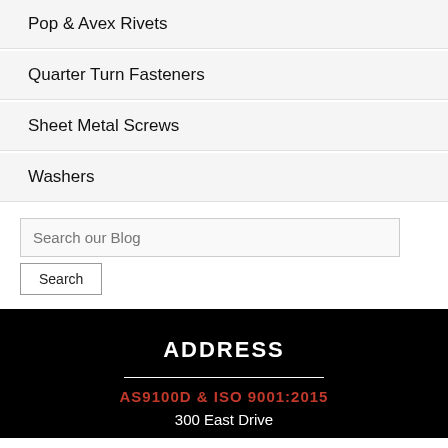Pop & Avex Rivets
Quarter Turn Fasteners
Sheet Metal Screws
Washers
Search our Blog
ADDRESS
AS9100D & ISO 9001:2015
300 East Drive